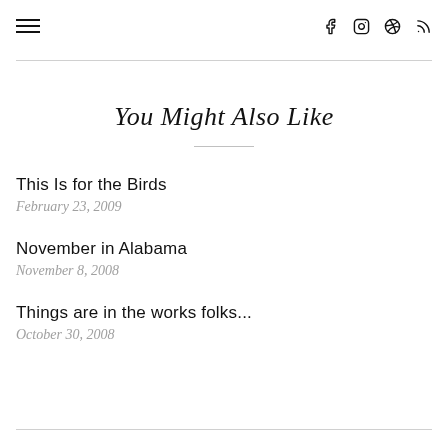☰  f  ⊙  𝐩  ⌁
You Might Also Like
This Is for the Birds
February 23, 2009
November in Alabama
November 8, 2008
Things are in the works folks...
October 30, 2008